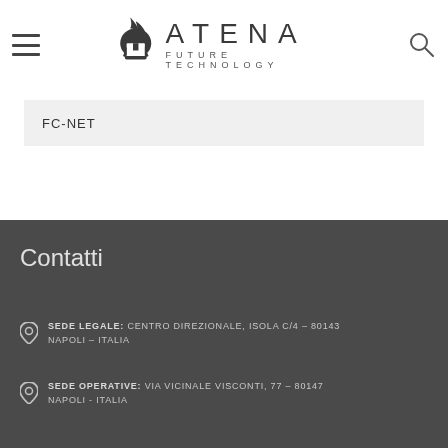ATENA FUTURE TECHNOLOGY
FC-NET
Contatti
SEDE LEGALE: CENTRO DIREZIONALE, ISOLA C/4 – 80143 NAPOLI – ITALIA
SEDE OPERATIVA: VIA VICINALE VISCONTI, 77 – 80147 NAPOLI - ITALIA